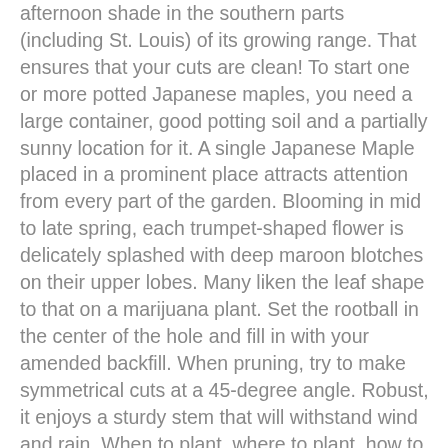afternoon shade in the southern parts (including St. Louis) of its growing range. That ensures that your cuts are clean! To start one or more potted Japanese maples, you need a large container, good potting soil and a partially sunny location for it. A single Japanese Maple placed in a prominent place attracts attention from every part of the garden. Blooming in mid to late spring, each trumpet-shaped flower is delicately splashed with deep maroon blotches on their upper lobes. Many liken the leaf shape to that on a marijuana plant. Set the rootball in the center of the hole and fill in with your amended backfill. When pruning, try to make symmetrical cuts at a 45-degree angle. Robust, it enjoys a sturdy stem that will withstand wind and rain. When to plant, where to plant, how to plant… Tall, with an open growth habit, it exhibits arching thread-like leaves topped in summer with a haze of delicate flower spikes, that sway gracefully in the slightest breeze. Choosing plants that grow … A fresh, richly-hued focal point of any landscape, the Bloodgood